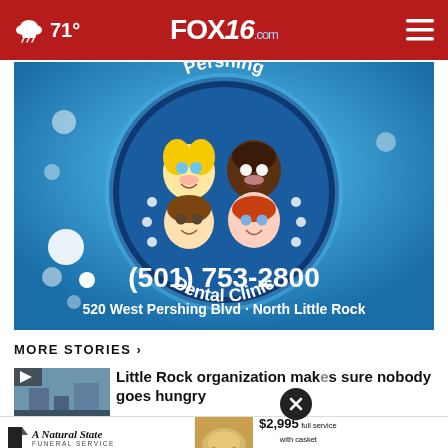71° FOX16.com
[Figure (illustration): Pershing Dental Clinic advertisement with cartoon children, phone number (501) 753-2800, address 520 West Pershing Blvd · North Little Rock]
MORE STORIES ›
[Figure (photo): Thumbnail image for news story about Little Rock organization]
Little Rock organization makes sure nobody goes hungry
[Figure (advertisement): A Natural State Funeral Service ad: $2,995 full service with casket, $695 direct on-site cremation, 501-982-3400, CLICK HERE]